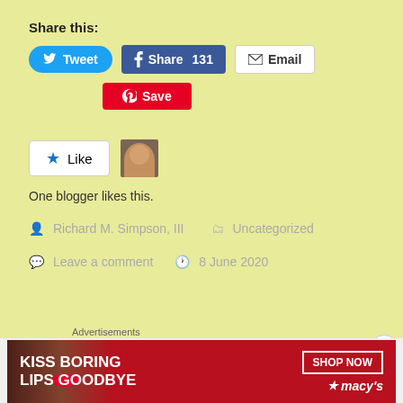Share this:
[Figure (screenshot): Social sharing buttons: Tweet (Twitter, blue rounded), Share 131 (Facebook, blue), Email (white with border), Save (Pinterest, red)]
[Figure (screenshot): Like button with star icon and avatar photo. Text: One blogger likes this.]
Richard M. Simpson, III
Uncategorized
Leave a comment
8 June 2020
Connecting 16th Street
[Figure (screenshot): Advertisement banner: KISS BORING LIPS GOODBYE with SHOP NOW button and Macy's logo on red background with woman's face]
Advertisements